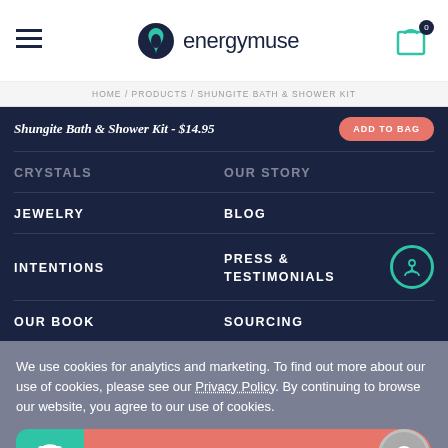energymuse
HOME / PRODUCTS / SHUNGITE BATH & SHOWER KIT
Shungite Bath & Shower Kit - $14.95
CRYSTALS
OUR STORY
JEWELRY
BLOG
INTENTIONS
PRESS & TESTIMONIALS
OUR BOOK
SOURCING
We use cookies for analytics and marketing. To find out more about our use of cookies, please see our Privacy Policy. By continuing to browse our website, you agree to our use of cookies.
OK